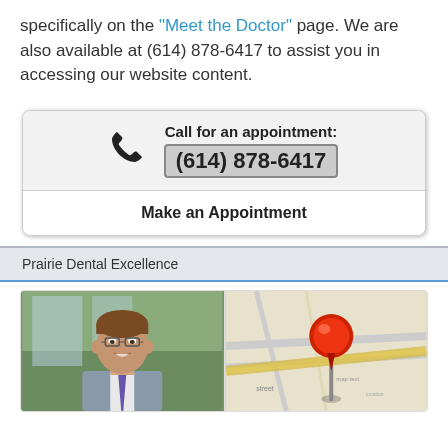specifically on the "Meet the Doctor" page. We are also available at (614) 878-6417 to assist you in accessing our website content.
Call for an appointment: (614) 878-6417
Make an Appointment
Prairie Dental Excellence
[Figure (photo): Photo of a smiling male doctor with glasses and brown hair, wearing a suit and tie, with greenery visible in background.]
[Figure (photo): A red pushpin pinned into a map, representing a location pin on a street map.]